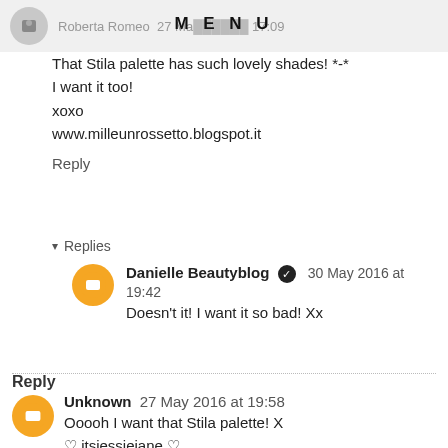Roberta Romeo 27 May 2016 at 17:09
That Stila palette has such lovely shades! *-*
I want it too!
xoxo
www.milleunrossetto.blogspot.it
Reply
▾ Replies
Danielle Beautyblog ✓ 30 May 2016 at 19:42
Doesn't it! I want it so bad! Xx
Reply
Unknown 27 May 2016 at 19:58
Ooooh I want that Stila palette! X
♡ itsjessiejane ♡